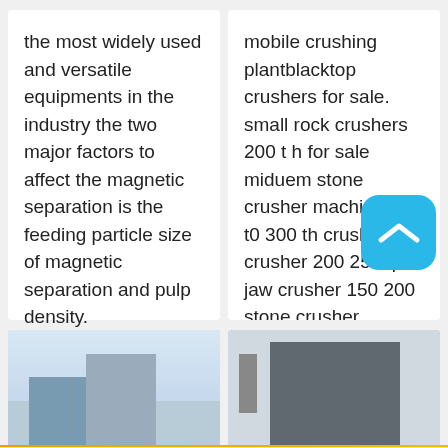the most widely used and versatile equipments in the industry the two major factors to affect the magnetic separation is the feeding particle size of magnetic separation and pulp density.
mobile crushing plantblacktop crushers for sale. small rock crushers 200 t h for sale miduem stone crusher machine 200 t0 300 th crushing crusher 200 250 tp jaw crusher 150 200 stone crusher.
[Figure (photo): Building exterior photo showing modern office building with blue glass facade and taller concrete tower behind it]
[Figure (photo): Industrial machinery or plant structure, dark colored industrial equipment against light sky]
Send Message
Free Consultation